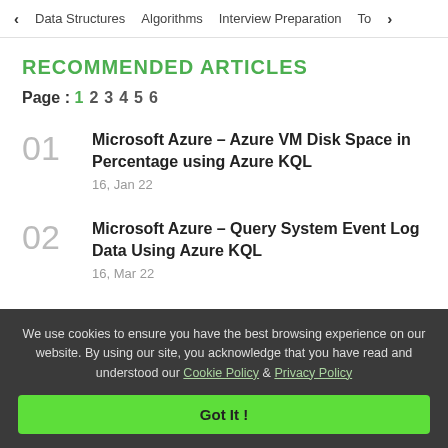< Data Structures   Algorithms   Interview Preparation   To>
RECOMMENDED ARTICLES
Page : 1 2 3 4 5 6
01 Microsoft Azure – Azure VM Disk Space in Percentage using Azure KQL
16, Jan 22
02 Microsoft Azure – Query System Event Log Data Using Azure KQL
16, Mar 22
We use cookies to ensure you have the best browsing experience on our website. By using our site, you acknowledge that you have read and understood our Cookie Policy & Privacy Policy
Got It !